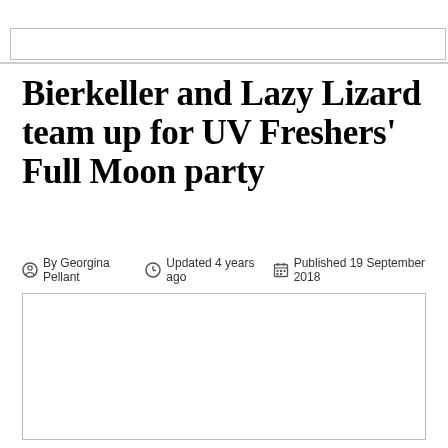Bierkeller and Lazy Lizard team up for UV Freshers’ Full Moon party
By Georgina Pellant   Updated 4 years ago   Published 19 September 2018
[Figure (photo): Large image placeholder — white rectangle with border below the byline]